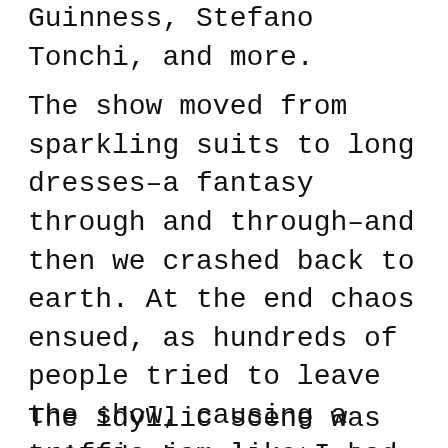Guinness, Stefano Tonchi, and more.
The show moved from sparkling suits to long dresses–a fantasy through and through–and then we crashed back to earth. At the end chaos ensued, as hundreds of people tried to leave the show, causing a traffic jam like I had never seen before. I decided to walk before hailing a taxi, and found myself beneath the Eiffel Tower and gently shining moon.
The idyllic scene was ruined when it started to pour rain, and I found